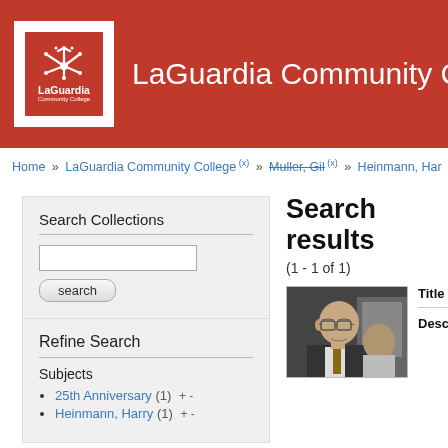LaGuardia Community College
Home » LaGuardia Community College (x) » Muller, Gil (x) » Heinmann, Har
Search Collections
Refine Search
Subjects
25th Anniversary (1)  + -
Heinmann, Harry (1)  + -
Search results
(1 - 1 of 1)
[Figure (photo): Photograph of an older bald man wearing glasses and a suit]
Title
Description